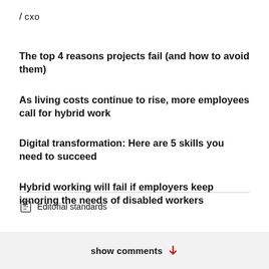/ cxo
The top 4 reasons projects fail (and how to avoid them)
As living costs continue to rise, more employees call for hybrid work
Digital transformation: Here are 5 skills you need to succeed
Hybrid working will fail if employers keep ignoring the needs of disabled workers
Editorial standards
show comments